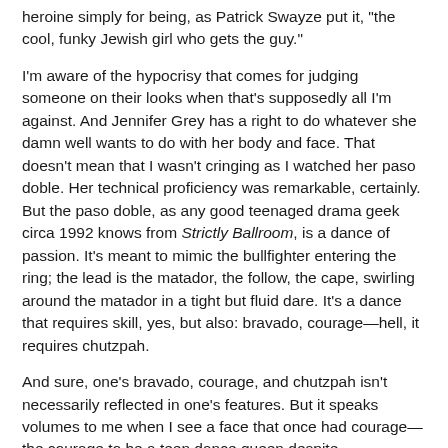heroine simply for being, as Patrick Swayze put it, "the cool, funky Jewish girl who gets the guy."
I'm aware of the hypocrisy that comes for judging someone on their looks when that's supposedly all I'm against. And Jennifer Grey has a right to do whatever she damn well wants to do with her body and face. That doesn't mean that I wasn't cringing as I watched her paso doble. Her technical proficiency was remarkable, certainly. But the paso doble, as any good teenaged drama geek circa 1992 knows from Strictly Ballroom, is a dance of passion. It's meant to mimic the bullfighter entering the ring; the lead is the matador, the follow, the cape, swirling around the matador in a tight but fluid dare. It's a dance that requires skill, yes, but also: bravado, courage—hell, it requires chutzpah.
And sure, one's bravado, courage, and chutzpah isn't necessarily reflected in one's features. But it speaks volumes to me when I see a face that once had courage—the courage to be a teen dance queen despite nontraditional looks; the bravado to play Baby (Baby! Baby who nobody could put in the corner! Baby who always made the right